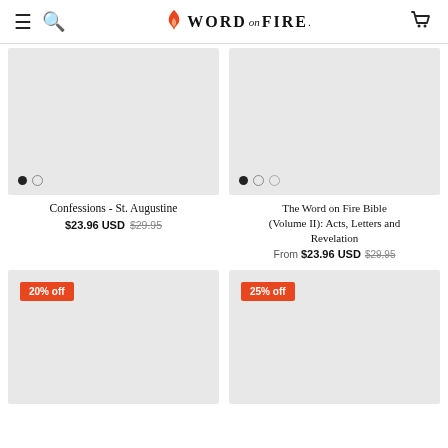Word on Fire — navigation header with menu, search, logo, and cart
[Figure (screenshot): Product image placeholder for Confessions - St. Augustine, grey background with two dot indicators]
Confessions - St. Augustine
$23.96 USD  $29.95
[Figure (screenshot): Product image placeholder for The Word on Fire Bible (Volume II): Acts, Letters and Revelation, grey background with three dot indicators]
The Word on Fire Bible (Volume II): Acts, Letters and Revelation
From  $23.96 USD  $29.95
[Figure (screenshot): Product image placeholder with 20% off badge, grey background]
[Figure (screenshot): Product image placeholder with 25% off badge, grey background]